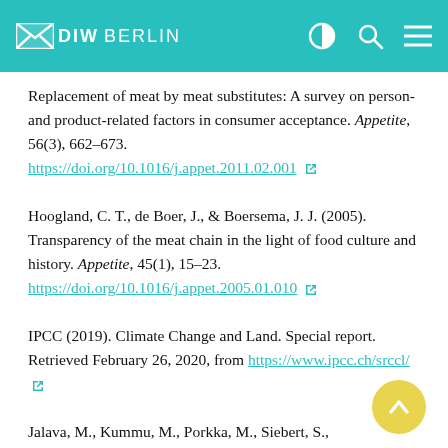DIW BERLIN
Replacement of meat by meat substitutes: A survey on person- and product-related factors in consumer acceptance. Appetite, 56(3), 662–673. https://doi.org/10.1016/j.appet.2011.02.001
Hoogland, C. T., de Boer, J., & Boersema, J. J. (2005). Transparency of the meat chain in the light of food culture and history. Appetite, 45(1), 15–23. https://doi.org/10.1016/j.appet.2005.01.010
IPCC (2019). Climate Change and Land. Special report. Retrieved February 26, 2020, from https://www.ipcc.ch/srccl/
Jalava, M., Kummu, M., Porkka, M., Siebert, S.,